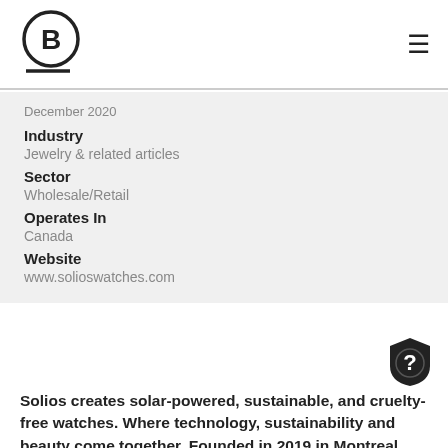[Figure (logo): B Corp logo - circle with letter B inside and underline]
December 2020
Industry
Jewelry & related articles
Sector
Wholesale/Retail
Operates In
Canada
Website
www.solioswatches.com
[Figure (illustration): Dark shield/badge icon with question mark inside]
Solios creates solar-powered, sustainable, and cruelty-free watches. Where technology, sustainability and beauty come together. Founded in 2019 in Montreal, they wanted their